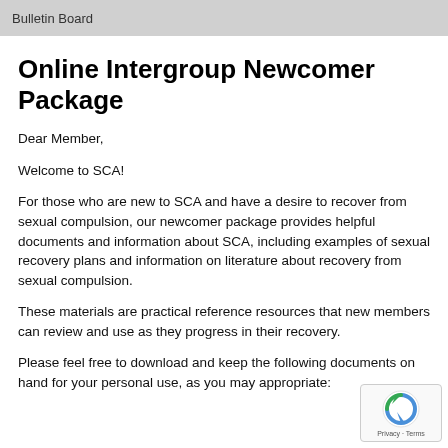Bulletin Board
Online Intergroup Newcomer Package
Dear Member,
Welcome to SCA!
For those who are new to SCA and have a desire to recover from sexual compulsion, our newcomer package provides helpful documents and information about SCA, including examples of sexual recovery plans and information on literature about recovery from sexual compulsion.
These materials are practical reference resources that new members can review and use as they progress in their recovery.
Please feel free to download and keep the following documents on hand for your personal use, as you may appropriate: